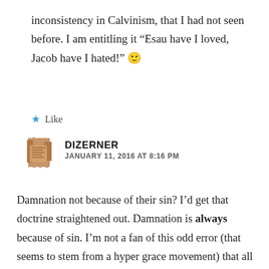inconsistency in Calvinism, that I had not seen before. I am entitling it “Esau have I loved, Jacob have I hated!” 🙂
★ Like
[Figure (illustration): Avatar/profile image showing an ancient manuscript fragment icon in brown/tan color]
DIZERNER
JANUARY 11, 2016 AT 8:16 PM
Damnation not because of their sin? I’d get that doctrine straightened out. Damnation is always because of sin. I’m not a fan of this odd error (that seems to stem from a hyper grace movement) that all sins are in some way forgiven and the only sin anyone has is unbelief—it’s just not